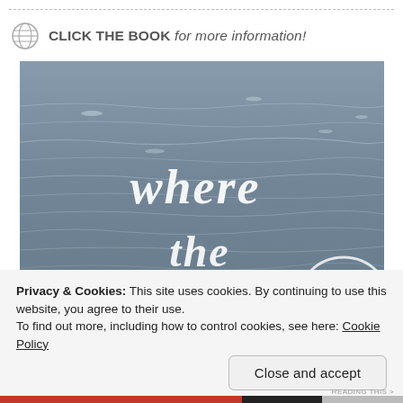CLICK THE BOOK for more information!
[Figure (photo): Book cover photo showing ocean/water surface with cursive white text reading 'where the...' overlaid on blue-grey rippling water]
Privacy & Cookies: This site uses cookies. By continuing to use this website, you agree to their use.
To find out more, including how to control cookies, see here: Cookie Policy
Close and accept